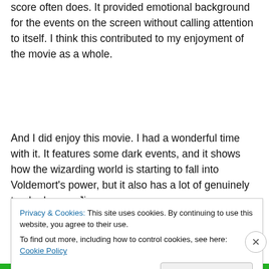score often does. It provided emotional background for the events on the screen without calling attention to itself. I think this contributed to my enjoyment of the movie as a whole.
And I did enjoy this movie. I had a wonderful time with it. It features some dark events, and it shows how the wizarding world is starting to fall into Voldemort's power, but it also has a lot of genuinely tender humor. Jim
Privacy & Cookies: This site uses cookies. By continuing to use this website, you agree to their use.
To find out more, including how to control cookies, see here: Cookie Policy